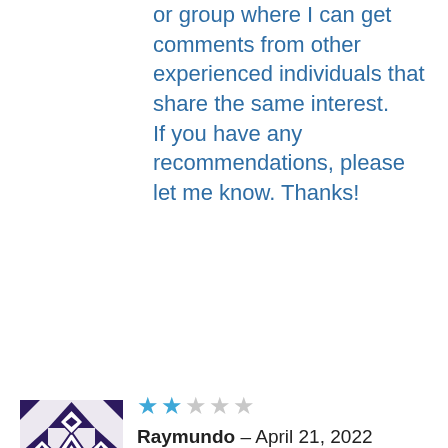or group where I can get comments from other experienced individuals that share the same interest.
If you have any recommendations, please let me know. Thanks!
[Figure (illustration): Avatar image with a geometric black and white pattern, diamonds and triangles forming a square icon]
★★☆☆☆ Raymundo – April 21, 2022
It's a shame you don't have a donate button! I'd most certainly donate